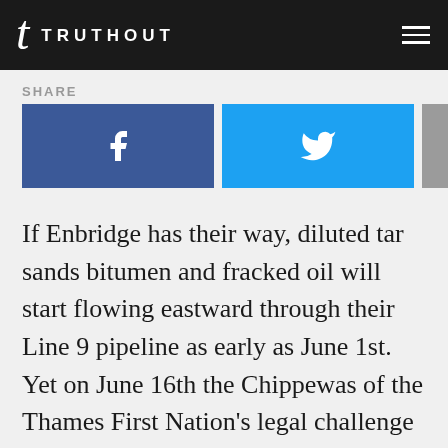TRUTHOUT
SHARE
[Figure (illustration): Three social share buttons: Facebook (blue), Twitter (cyan), Email (gray)]
If Enbridge has their way, diluted tar sands bitumen and fracked oil will start flowing eastward through their Line 9 pipeline as early as June 1st. Yet on June 16th the Chippewas of the Thames First Nation's legal challenge to the National Energy Board's decision on the pipeline project will be heard in front of a federal